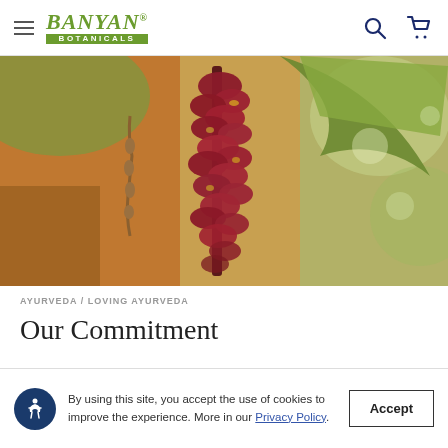Banyan Botanicals — Navigation bar with hamburger menu, logo, search and cart icons
[Figure (photo): Close-up photo of a deep red/crimson cascading flower cluster (possibly a bean or tropical plant flower) with green leaves, yellow accents, and warm orange/brown background foliage. Botanical nature photography.]
AYURVEDA / LOVING AYURVEDA
Our Commitment
By using this site, you accept the use of cookies to improve the experience. More in our Privacy Policy.
Accept